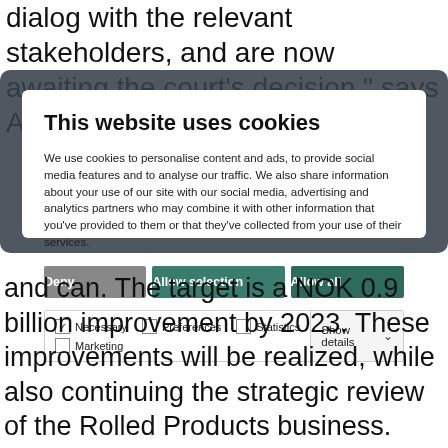dialog with the relevant stakeholders, and are now awaiting the court's decision," says Aasheim.
[Figure (screenshot): Cookie consent dialog overlay on a website. Title: 'This website uses cookies'. Body text explains cookie usage for personalising content, ads, social media features and traffic analysis. Three buttons: 'Deny' (grey), 'Allow selection' (teal), 'Allow all' (dark teal). Checkboxes for: Necessary (checked), Preferences (unchecked), Statistics (unchecked), Marketing (unchecked). 'Show details' dropdown on the right.]
and can. The target is a NOK 0.9 billion improvement by 2023. These improvements will be realized, while also continuing the strategic review of the Rolled Products business.